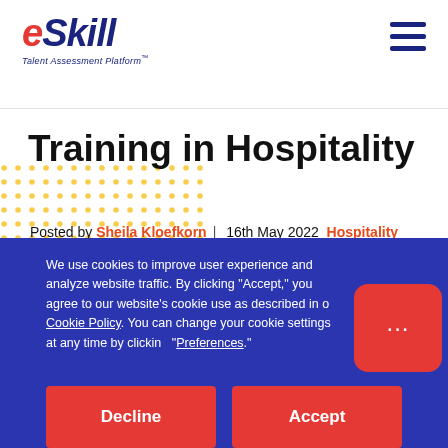eSkill Talent Assessment Platform
Training in Hospitality
Posted by Sheila Kloefkorn | 16th May 2022 Hospitality
We use cookies to improve user experience and analyze website traffic. By clicking "Accept," you agree to our website's cookie use as described in our Cookie Policy. You can change your cookie settings at any time by clicking "Preferences."
Decline
Accept
Preferences